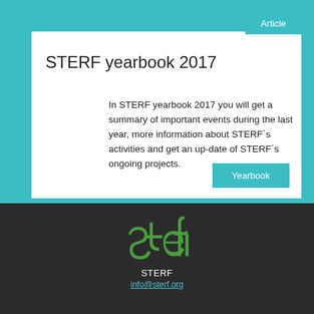Article
STERF yearbook 2017
In STERF yearbook 2017 you will get a summary of important events during the last year, more information about STERF´s activities and get an up-date of STERF´s ongoing projects.
Yearbook
[Figure (logo): STERF logo in green stylized lettering on dark background]
STERF
info@sterf.org